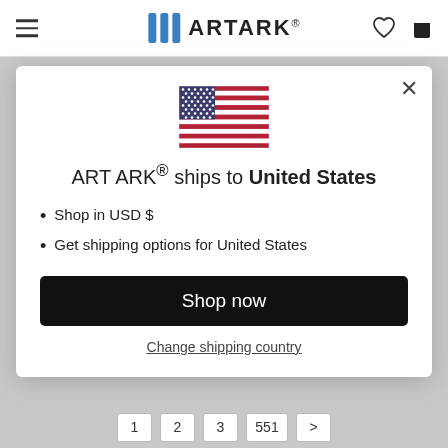[Figure (screenshot): ARTARK website navigation bar with hamburger menu, ARTARK logo with blue bar icons, heart icon, and shopping bag icon]
[Figure (illustration): Modal dialog showing US flag, shipping message, bullet points, Shop now button, and Change shipping country link]
ART ARK® ships to United States
Shop in USD $
Get shipping options for United States
Shop now
Change shipping country
1  2  3  551  >